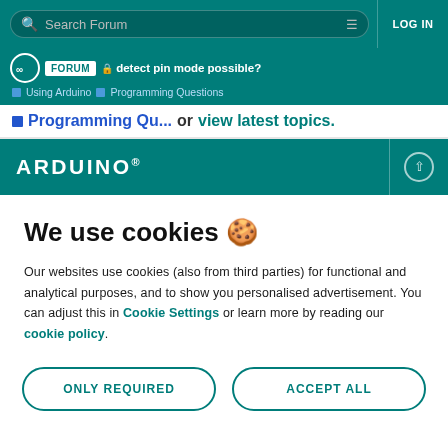Search Forum  LOG IN
FORUM  detect pin mode possible?  Using Arduino  Programming Questions
Programming Qu... or view latest topics.
ARDUINO®
We use cookies 🍪
Our websites use cookies (also from third parties) for functional and analytical purposes, and to show you personalised advertisement. You can adjust this in Cookie Settings or learn more by reading our cookie policy.
ONLY REQUIRED
ACCEPT ALL